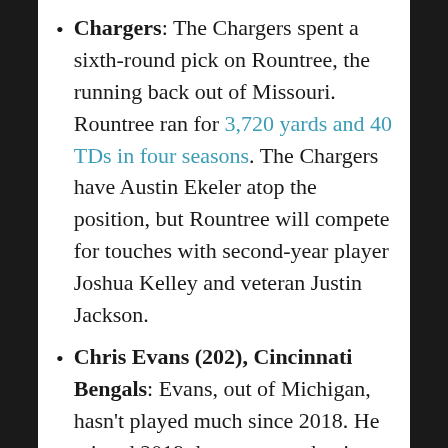Chargers: The Chargers spent a sixth-round pick on Rountree, the running back out of Missouri. Rountree ran for 3,720 yards and 40 TDs in four seasons. The Chargers have Austin Ekeler atop the position, but Rountree will compete for touches with second-year player Joshua Kelley and veteran Justin Jackson.
Chris Evans (202), Cincinnati Bengals: Evans, out of Michigan, hasn't played much since 2018. He missed 2019 due to an academic issue and saw only 16 carries in 2020. But the Bengals have an opening behind Joe Mixon after releasing Giovanni Bernard this off-season. Evans has potential to develop and be a steal in the Sixth Round for the Bengals.